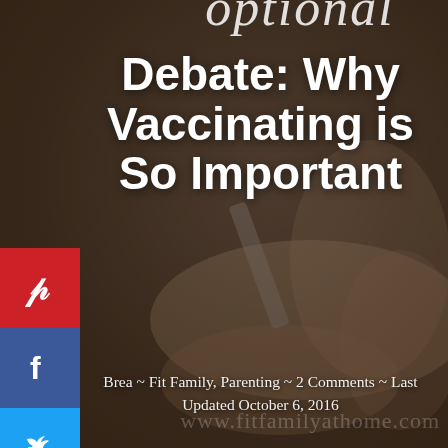[Figure (photo): Dark background photo of a medical/vaccination scene showing hands with a syringe, with brownish-dark overlay tones. Script handwriting 'optional' appears at the top.]
Debate: Why Vaccinating is So Important
Brea ~ Fit Family, Parenting ~ 2 Comments ~ Last Updated October 6, 2016